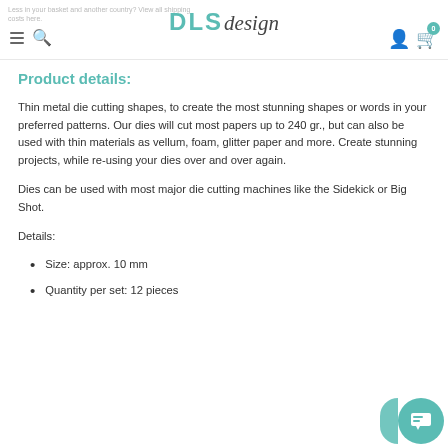Less in your basket and another country? View all shipping costs here. DLS design
Product details:
Thin metal die cutting shapes, to create the most stunning shapes or words in your preferred patterns. Our dies will cut most papers up to 240 gr., but can also be used with thin materials as vellum, foam, glitter paper and more. Create stunning projects, while re-using your dies over and over again.
Dies can be used with most major die cutting machines like the Sidekick or Big Shot.
Details:
Size: approx. 10 mm
Quantity per set: 12 pieces